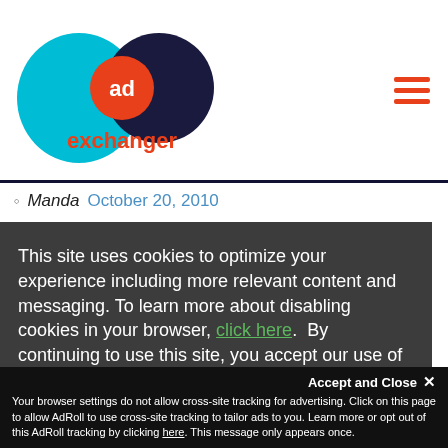AdExchanger logo and navigation
Manda October 20, 2010
This site uses cookies to optimize your experience including more relevant content and messaging. To learn more about disabling cookies in your browser, click here. By continuing to use this site, you accept our use of cookies. For more information, view our updated Privacy Policy.
I Consent
Accept and Close ✕ Your browser settings do not allow cross-site tracking for advertising. Click on this page to allow AdRoll to use cross-site tracking to tailor ads to you. Learn more or opt out of this AdRoll tracking by clicking here. This message only appears once.